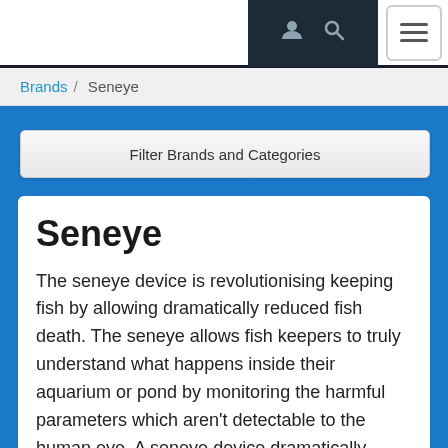Navigation bar with user icon, search icon, and hamburger menu
Brands / Seneye
Filter Brands and Categories
Seneye
The seneye device is revolutionising keeping fish by allowing dramatically reduced fish death. The seneye allows fish keepers to truly understand what happens inside their aquarium or pond by monitoring the harmful parameters which aren't detectable to the human eye. A seneye device dramatically improves the frequency, accuracy, sensitivity, and robustness of water sensing to ensure that aquatic life does not just survive, but thrive!